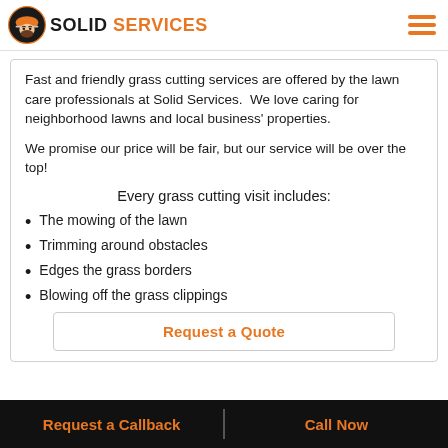SOLID SERVICES
Fast and friendly grass cutting services are offered by the lawn care professionals at Solid Services.  We love caring for neighborhood lawns and local business' properties.
We promise our price will be fair, but our service will be over the top!
Every grass cutting visit includes:
The mowing of the lawn
Trimming around obstacles
Edges the grass borders
Blowing off the grass clippings
Request a Quote
Request a Callback | Call Now